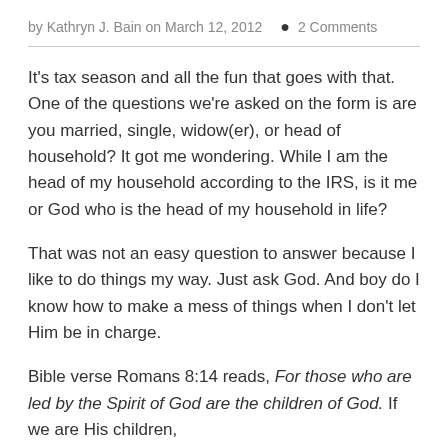by Kathryn J. Bain on March 12, 2012  🗨 2 Comments
It's tax season and all the fun that goes with that. One of the questions we're asked on the form is are you married, single, widow(er), or head of household? It got me wondering. While I am the head of my household according to the IRS, is it me or God who is the head of my household in life?
That was not an easy question to answer because I like to do things my way. Just ask God. And boy do I know how to make a mess of things when I don't let Him be in charge.
Bible verse Romans 8:14 reads, For those who are led by the Spirit of God are the children of God. If we are His children,